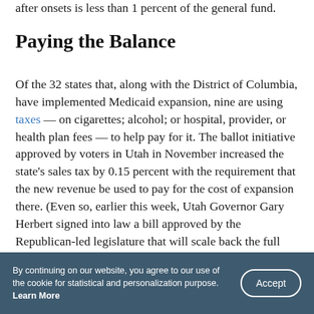after onsets is less than 1 percent of the general fund.
Paying the Balance
Of the 32 states that, along with the District of Columbia, have implemented Medicaid expansion, nine are using taxes — on cigarettes; alcohol; or hospital, provider, or health plan fees — to help pay for it. The ballot initiative approved by voters in Utah in November increased the state's sales tax by 0.15 percent with the requirement that the new revenue be used to pay for the cost of expansion there. (Even so, earlier this week, Utah Governor Gary Herbert signed into law a bill approved by the Republican-led legislature that will scale back the full Medicaid
By continuing on our website, you agree to our use of the cookie for statistical and personalization purpose. Learn More